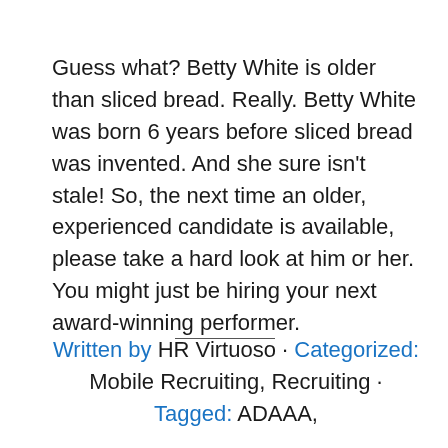Guess what? Betty White is older than sliced bread. Really. Betty White was born 6 years before sliced bread was invented. And she sure isn't stale! So, the next time an older, experienced candidate is available, please take a hard look at him or her. You might just be hiring your next award-winning performer.
Written by HR Virtuoso · Categorized: Mobile Recruiting, Recruiting · Tagged: ADAAA,